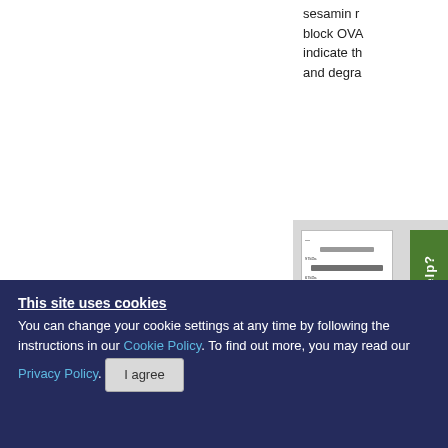sesamin r block OVA indicate th and degra
[Figure (other): Partial western blot figure panel with 'Need help?' green sidebar button and a close (×) button, shown in a grey container.]
This site uses cookies
You can change your cookie settings at any time by following the instructions in our Cookie Policy. To find out more, you may read our Privacy Policy. [I agree]